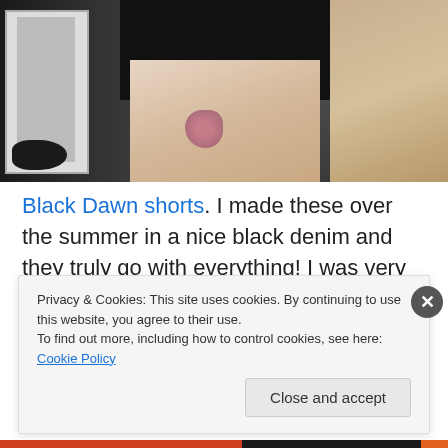[Figure (photo): Photo of a person from waist down wearing black denim shorts, with a floral tattoo visible on the upper thigh. Background shows a door, a cat on the floor, and wooden shelving with plants.]
Black Dawn shorts. I made these over the summer in a nice black denim and they truly go with everything! I was very sad to put them away this winter, and early anticipate reuniting with them next summer, hol
Privacy & Cookies: This site uses cookies. By continuing to use this website, you agree to their use.
To find out more, including how to control cookies, see here: Cookie Policy
Close and accept